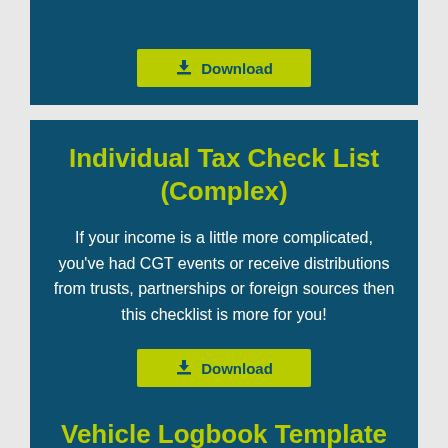[Figure (other): Download button on dark teal card background at top]
Individual Tax Check List (Complex)
If your income is a little more complicated, you've had CGT events or receive distributions from trusts, partnerships or foreign sources then this checklist is more for you!
[Figure (other): Download button on dark teal card background]
Vehicle Logbook Template